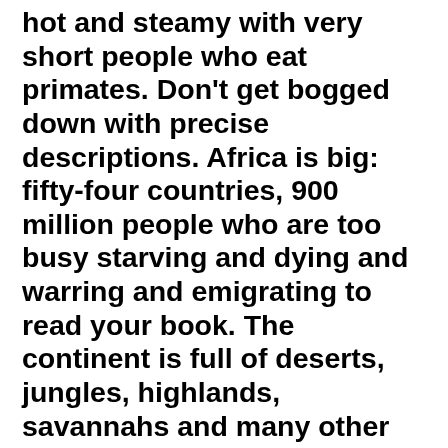hot and steamy with very short people who eat primates. Don't get bogged down with precise descriptions. Africa is big: fifty-four countries, 900 million people who are too busy starving and dying and warring and emigrating to read your book. The continent is full of deserts, jungles, highlands, savannahs and many other things, but your reader doesn't care about all that, so keep your descriptions romantic and evocative and unparticular.

Make sure you show how Africans have music and rhythm deep in their souls, and eat things no other humans eat. Do not mention rice and beef and wheat; monkey-brain is an African's cuisine of choice, along with goat, snake, worms and grubs